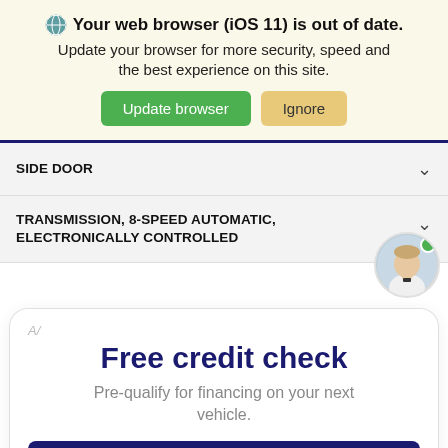Your web browser (iOS 11) is out of date. Update your browser for more security, speed and the best experience on this site. Update browser | Ignore
SIDE DOOR
TRANSMISSION, 8-SPEED AUTOMATIC, ELECTRONICALLY CONTROLLED
Free credit check
Pre-qualify for financing on your next vehicle.
Pre-qualify now
This won't affect your credit score